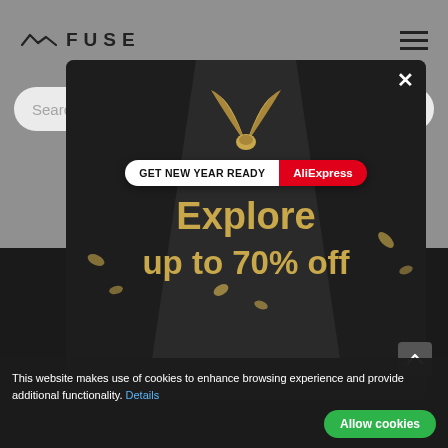[Figure (screenshot): FUSE website header with logo on left and hamburger menu icon on right, on a grey background]
Search
[Figure (infographic): AliExpress promotional modal overlay on dark background. Shows a gift ribbon decoration at top, a badge reading 'GET NEW YEAR READY AliExpress', large golden text 'Explore up to 70% off', with confetti decorations. Has an X close button at top right.]
GET NEW YEAR READY
AliExpress
Explore up to 70% off
the bestsellers
This website makes use of cookies to enhance browsing experience and provide additional functionality. Details
Allow cookies